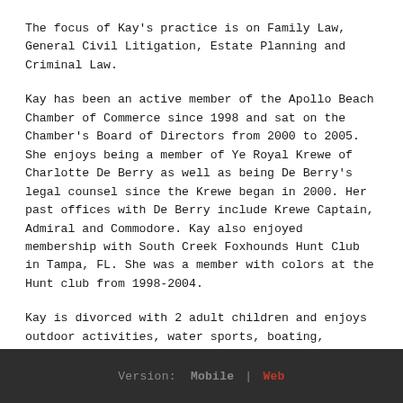The focus of Kay's practice is on Family Law, General Civil Litigation, Estate Planning and Criminal Law.
Kay has been an active member of the Apollo Beach Chamber of Commerce since 1998 and sat on the Chamber's Board of Directors from 2000 to 2005. She enjoys being a member of Ye Royal Krewe of Charlotte De Berry as well as being De Berry's legal counsel since the Krewe began in 2000. Her past offices with De Berry include Krewe Captain, Admiral and Commodore. Kay also enjoyed membership with South Creek Foxhounds Hunt Club in Tampa, FL. She was a member with colors at the Hunt club from 1998-2004.
Kay is divorced with 2 adult children and enjoys outdoor activities, water sports, boating, fishing and gardening.
Version: Mobile | Web